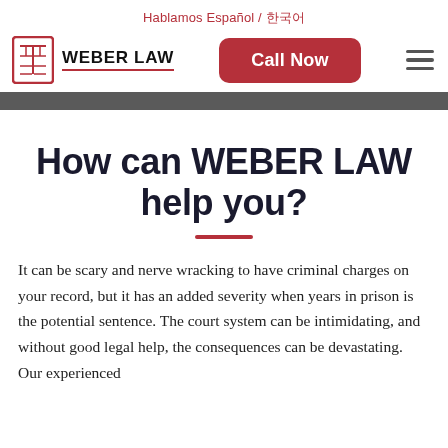Hablamos Español / 한국어
[Figure (logo): Weber Law logo with red Chinese-character style icon and text WEBER LAW with red underline, plus Call Now button and hamburger menu]
How can WEBER LAW help you?
It can be scary and nerve wracking to have criminal charges on your record, but it has an added severity when years in prison is the potential sentence. The court system can be intimidating, and without good legal help, the consequences can be devastating. Our experienced